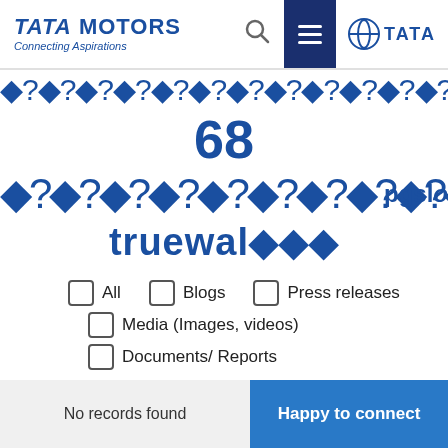[Figure (screenshot): Tata Motors website header with logo, search icon, hamburger menu, and Tata group logo]
[Figure (other): Decorative row of blue diamond/question mark icons forming a banner pattern]
68
[Figure (other): Row of blue diamond/question mark icons with pgslot text]
truewal◆◆◆
All
Blogs
Press releases
Media (Images, videos)
Documents/ Reports
No records found
Happy to connect